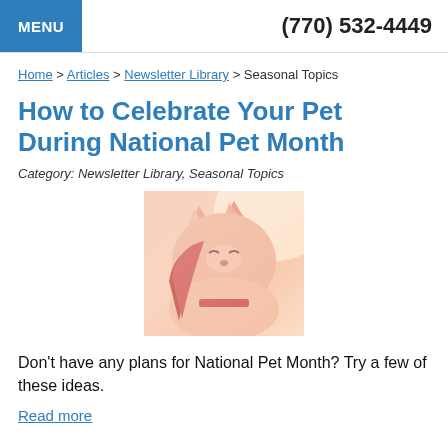MENU   (770) 532-4449
Home > Articles > Newsletter Library > Seasonal Topics
How to Celebrate Your Pet During National Pet Month
Category: Newsletter Library, Seasonal Topics
[Figure (photo): A person resting their cheek against a cat with warm pink/red tones]
Don't have any plans for National Pet Month? Try a few of these ideas.
Read more